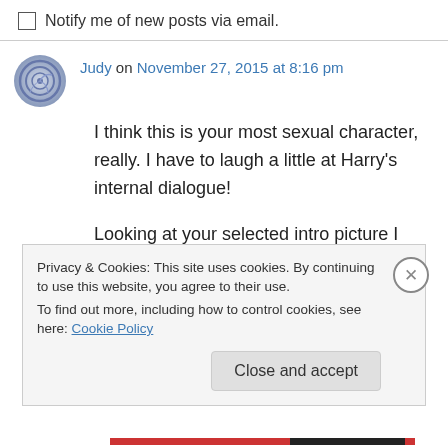Notify me of new posts via email.
Judy on November 27, 2015 at 8:16 pm
I think this is your most sexual character, really. I have to laugh a little at Harry’s internal dialogue!
Looking at your selected intro picture I was expecting an even more unsavory Dr Knox....more than unkempt I should say....but
Privacy & Cookies: This site uses cookies. By continuing to use this website, you agree to their use.
To find out more, including how to control cookies, see here: Cookie Policy
Close and accept